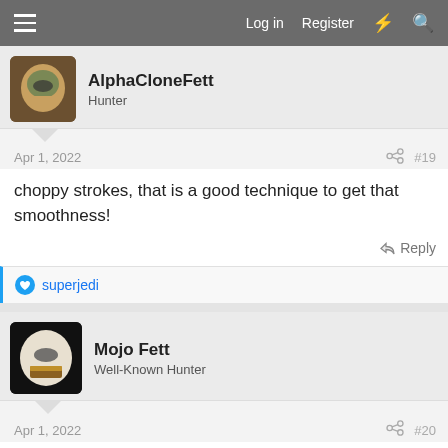Log in  Register
AlphaCloneFett
Hunter
Apr 1, 2022  #19
choppy strokes, that is a good technique to get that smoothness!
Reply
superjedi
Mojo Fett
Well-Known Hunter
Apr 1, 2022  #20
[Figure (photo): Image with text 'I CAN'T WAIT TO SEE' overlaid on a dark background]